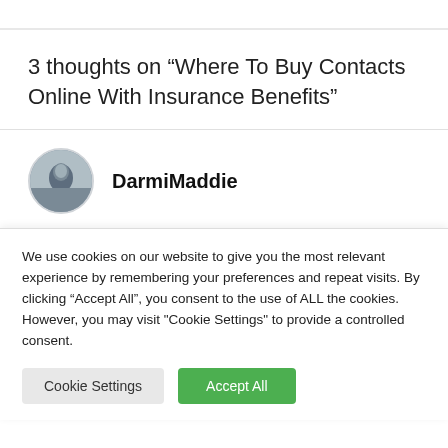3 thoughts on “Where To Buy Contacts Online With Insurance Benefits”
DarmiMaddie
We use cookies on our website to give you the most relevant experience by remembering your preferences and repeat visits. By clicking “Accept All”, you consent to the use of ALL the cookies. However, you may visit "Cookie Settings" to provide a controlled consent.